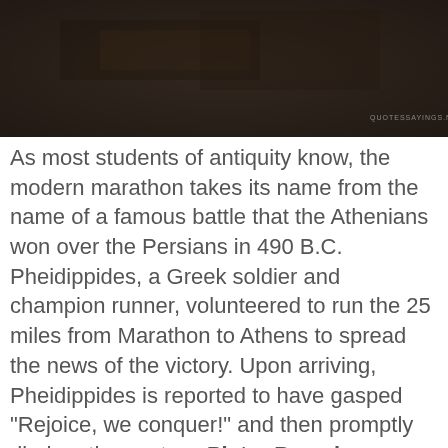[Figure (photo): Dark textured background image, possibly stone or dark surface, with a watermark reading 'quotessayings.net' in the lower right corner.]
As most students of antiquity know, the modern marathon takes its name from the name of a famous battle that the Athenians won over the Persians in 490 B.C. Pheidippides, a Greek soldier and champion runner, volunteered to run the 25 miles from Marathon to Athens to spread the news of the victory. Upon arriving, Pheidippides is reported to have gasped "Rejoice, we conquer!" and then promptly died on the spot. — Pieter Peereboom